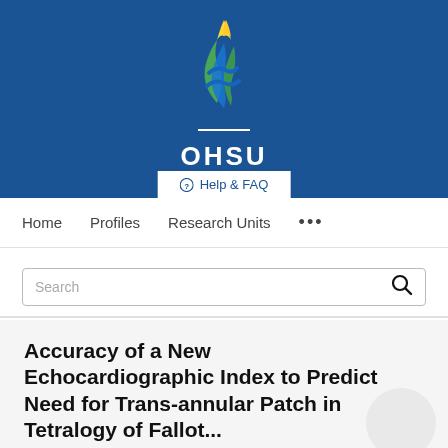[Figure (logo): OHSU (Oregon Health & Science University) logo with stylized DNA/flame graphic in blue, green, and yellow, with white OHSU wordmark below]
Help & FAQ
Home   Profiles   Research Units   ...
Search
Accuracy of a New Echocardiographic Index to Predict Need for Trans-annular Patch in Tetralogy of Fallot...